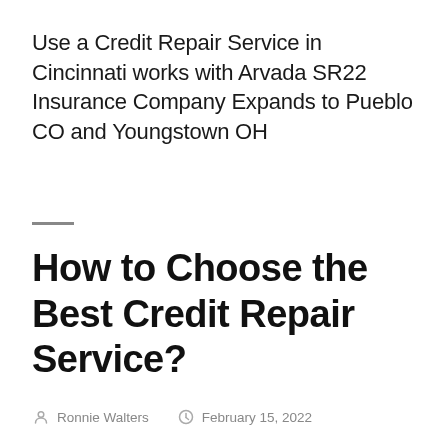Use a Credit Repair Service in Cincinnati works with Arvada SR22 Insurance Company Expands to Pueblo CO and Youngstown OH
How to Choose the Best Credit Repair Service?
Ronnie Walters   February 15, 2022